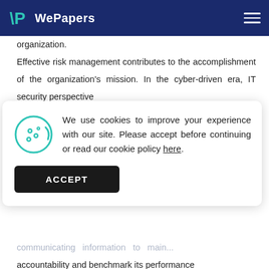WePapers
organization.
Effective risk management contributes to the accomplishment of the organization's mission. In the cyber-driven era, IT security perspective
[Figure (screenshot): Cookie consent popup with cookie icon, text about cookie usage, and an ACCEPT button]
communicating information to maintain accountability and benchmark its performance
Continue reading...